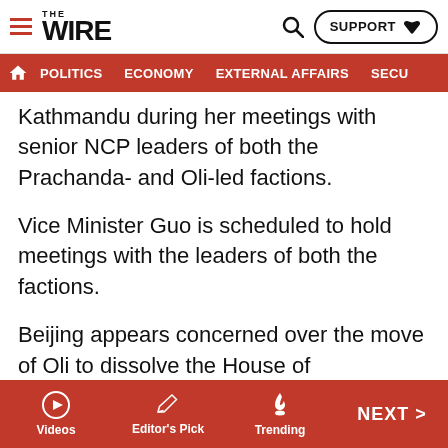THE WIRE — POLITICS | ECONOMY | EXTERNAL AFFAIRS | SECU...
Kathmandu during her meetings with senior NCP leaders of both the Prachanda- and Oli-led factions.
Vice Minister Guo is scheduled to hold meetings with the leaders of both the factions.
Beijing appears concerned over the move of Oli to dissolve the House of Representatives and the evolving political situation that saw a vertical split in the NCP. Shortly after the dissolution of the House, the Chinese ambassador expedited her meetings with top political leadership in Nepal.
Hou has already held meetings with President Bhandari,
Videos | Editor's Pick | Trending | NEXT >